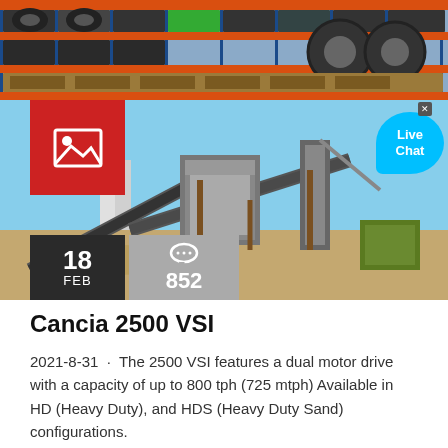[Figure (photo): Top portion shows a warehouse/storage facility with industrial shelving holding coiled steel materials and large rings/drums. The shelves are blue metal with orange accents. Below is a large industrial crushing/screening plant with conveyors and equipment set against a clear blue sky.]
Cancia 2500 VSI
2021-8-31 · The 2500 VSI features a dual motor drive with a capacity of up to 800 tph (725 mtph) Available in HD (Heavy Duty), and HDS (Heavy Duty Sand) configurations.